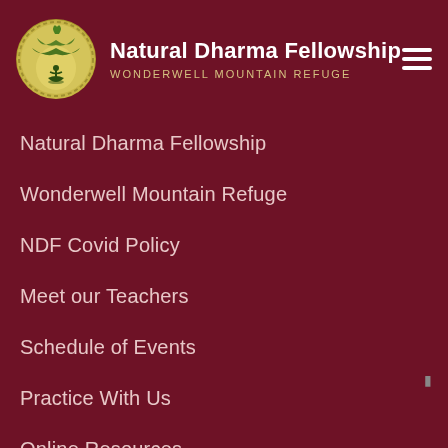Natural Dharma Fellowship — WONDERWELL MOUNTAIN REFUGE
Natural Dharma Fellowship
Wonderwell Mountain Refuge
NDF Covid Policy
Meet our Teachers
Schedule of Events
Practice With Us
Online Resources
Support